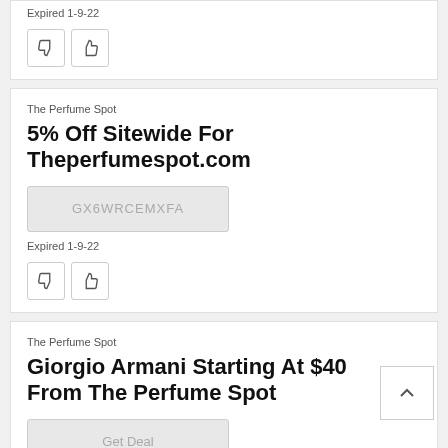Expired 1-9-22
The Perfume Spot
5% Off Sitewide For Theperfumespot.com
GX6WRCEMXFA
Expired 1-9-22
The Perfume Spot
Giorgio Armani Starting At $40 From The Perfume Spot
Get Deal